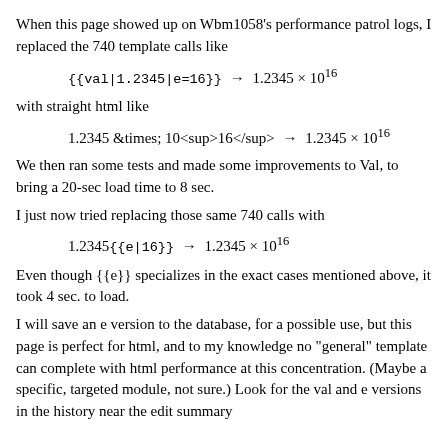When this page showed up on Wbm1058's performance patrol logs, I replaced the 740 template calls like
with straight html like
We then ran some tests and made some improvements to Val, to bring a 20-sec load time to 8 sec.
I just now tried replacing those same 740 calls with
Even though {{e}} specializes in the exact cases mentioned above, it took 4 sec. to load.
I will save an e version to the database, for a possible use, but this page is perfect for html, and to my knowledge no "general" template can complete with html performance at this concentration. (Maybe a specific, targeted module, not sure.) Look for the val and e versions in the history near the edit summary